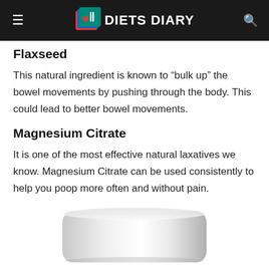DIETS DIARY
Flaxseed
This natural ingredient is known to “bulk up” the bowel movements by pushing through the body. This could lead to better bowel movements.
Magnesium Citrate
It is one of the most effective natural laxatives we know. Magnesium Citrate can be used consistently to help you poop more often and without pain.
[Figure (photo): Bottom portion of a white pill or capsule container visible at the bottom of the page]